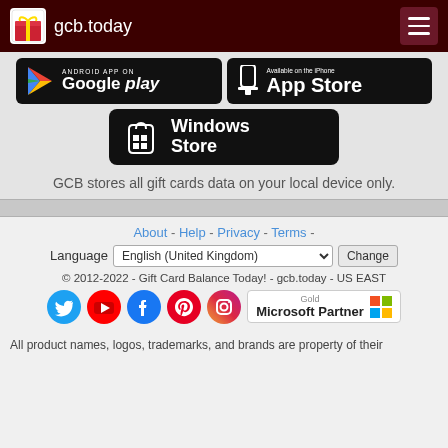gcb.today
[Figure (logo): Google Play store badge (Android App on Google play)]
[Figure (logo): Apple App Store badge (Available on the iPhone App Store)]
[Figure (logo): Windows Store badge]
GCB stores all gift cards data on your local device only.
About - Help - Privacy - Terms -
Language  English (United Kingdom)  Change
© 2012-2022 - Gift Card Balance Today! - gcb.today - US EAST
[Figure (logo): Social media icons: Twitter, YouTube, Facebook, Pinterest, Instagram; Gold Microsoft Partner badge]
All product names, logos, trademarks, and brands are property of their respective owners.